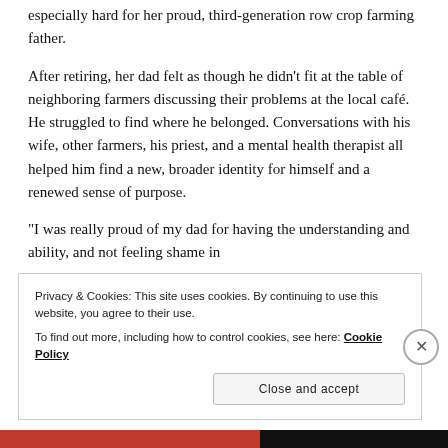especially hard for her proud, third-generation row crop farming father.
After retiring, her dad felt as though he didn't fit at the table of neighboring farmers discussing their problems at the local café. He struggled to find where he belonged. Conversations with his wife, other farmers, his priest, and a mental health therapist all helped him find a new, broader identity for himself and a renewed sense of purpose.
“I was really proud of my dad for having the understanding and ability, and not feeling shame in
Privacy & Cookies: This site uses cookies. By continuing to use this website, you agree to their use.
To find out more, including how to control cookies, see here: Cookie Policy
Close and accept